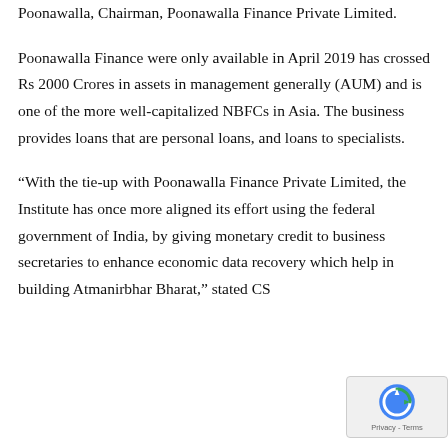Poonawalla, Chairman, Poonawalla Finance Private Limited.
Poonawalla Finance were only available in April 2019 has crossed Rs 2000 Crores in assets in management generally (AUM) and is one of the more well-capitalized NBFCs in Asia. The business provides loans that are personal loans, and loans to specialists.
“With the tie-up with Poonawalla Finance Private Limited, the Institute has once more aligned its effort using the federal government of India, by giving monetary credit to business secretaries to enhance economic data recovery which help in building Atmanirbhar Bharat,” stated CS
[Figure (other): reCAPTCHA privacy badge in bottom-right corner showing reCAPTCHA logo and Privacy-Terms text]